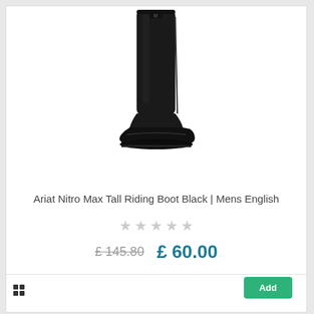[Figure (photo): A black tall riding boot (Ariat Nitro Max) standing upright against a white background, showing the full length from tip to top of the shaft.]
Ariat Nitro Max Tall Riding Boot Black | Mens English
★ ★ ★ ★ ★ (star rating, all grey/empty)
£ 145.80  £ 60.00